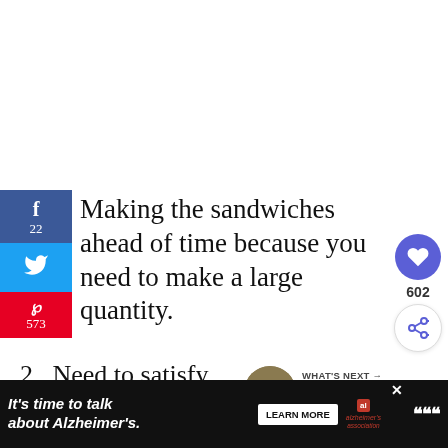[Figure (screenshot): Social media sharing sidebar with Facebook (22 shares), Twitter, and Pinterest (573 shares) buttons on the left edge]
Making the sandwiches ahead of time because you need to make a large quantity.
2. Need to satisfy multiple dietary preferences.
3. Need to keep them from becoming
[Figure (infographic): Heart/like button showing 602 likes, and a share button, on the right side]
[Figure (infographic): What's Next promo: circular food photo with text KENTUCKY HOT BROW...]
[Figure (infographic): Ad banner: It's time to talk about Alzheimer's. LEARN MORE button. Alzheimer's association logo. Close X button.]